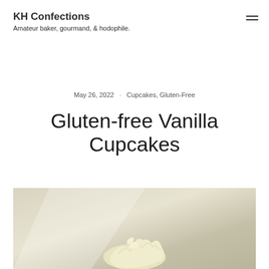KH Confections
Amateur baker, gourmand, & hodophile.
May 26, 2022 · Cupcakes, Gluten-Free
Gluten-free Vanilla Cupcakes
[Figure (photo): Photo of a gluten-free vanilla cupcake with white/yellow frosting on a light background, partially cropped]